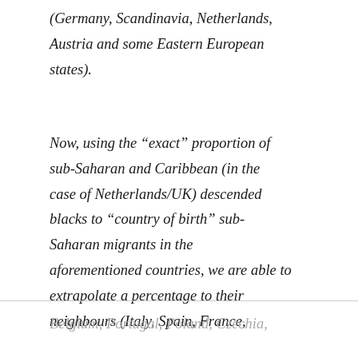(Germany, Scandinavia, Netherlands, Austria and some Eastern European states).
Now, using the “exact” proportion of sub-Saharan and Caribbean (in the case of Netherlands/UK) descended blacks to “country of birth” sub-Saharan migrants in the aforementioned countries, we are able to extrapolate a percentage to their neighbours (Italy, Spain, France,
Belgium, Portugal, Poland, Czechia,